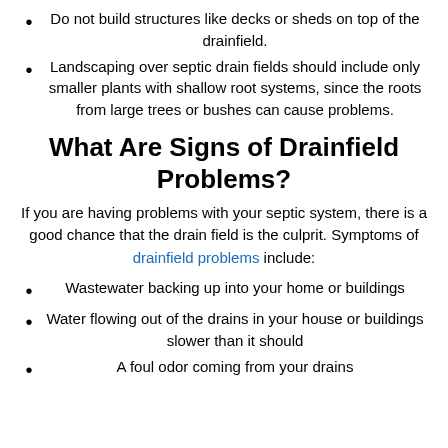Do not build structures like decks or sheds on top of the drainfield.
Landscaping over septic drain fields should include only smaller plants with shallow root systems, since the roots from large trees or bushes can cause problems.
What Are Signs of Drainfield Problems?
If you are having problems with your septic system, there is a good chance that the drain field is the culprit. Symptoms of drainfield problems include:
Wastewater backing up into your home or buildings
Water flowing out of the drains in your house or buildings slower than it should
A foul odor coming from your drains